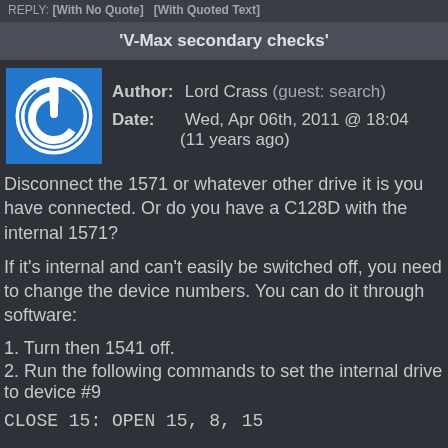REPLY: [With No Quote]  [With Quoted Text]
'V-Max secondary checks'
Author:  Lord Crass (guest: search)
Date:  Wed, Apr 06th, 2011 @ 18:04 (11 years ago)
Disconnect the 1571 or whatever other drive it is you have connected. Or do you have a C128D with the internal 1571?
If it's internal and can't easily be switched off, you need to change the device numbers. You can do it through software:
1. Turn then 1541 off.
2. Run the following commands to set the internal drive to device #9
CLOSE 15: OPEN 15, 8, 15